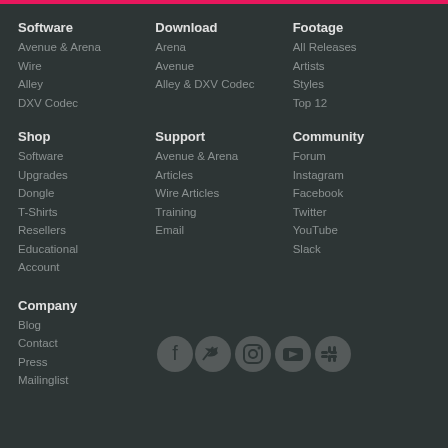Software
Avenue & Arena
Wire
Alley
DXV Codec
Download
Arena
Avenue
Alley & DXV Codec
Footage
All Releases
Artists
Styles
Top 12
Shop
Software
Upgrades
Dongle
T-Shirts
Resellers
Educational
Account
Support
Avenue & Arena
Articles
Wire Articles
Training
Email
Community
Forum
Instagram
Facebook
Twitter
YouTube
Slack
Company
Blog
Contact
Press
Mailinglist
[Figure (illustration): Social media icons: Facebook, Twitter, Instagram, YouTube, Slack]